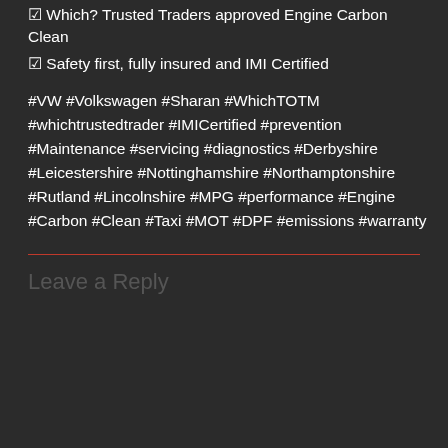☑ Which? Trusted Traders approved Engine Carbon Clean
☑ Safety first, fully insured and IMI Certified
#VW #Volkswagen #Sharan #WhichTOTM #whichtrustedtrader #IMICertified #prevention #Maintenance #servicing #diagnostics #Derbyshire #Leicestershire #Nottinghamshire #Northamptonshire #Rutland #Lincolnshire #MPG #performance #Engine #Carbon #Clean #Taxi #MOT #DPF #emissions #warranty
Leave a Reply